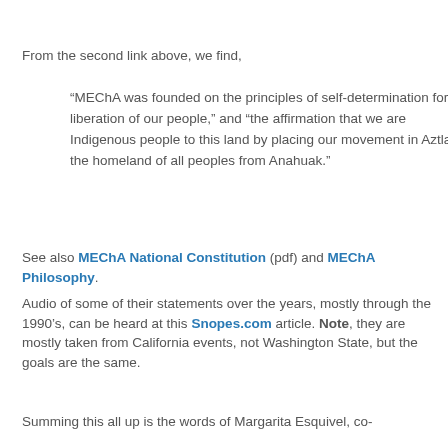From the second link above, we find,
“MEChA was founded on the principles of self-determination for the liberation of our people,” and “the affirmation that we are Indigenous people to this land by placing our movement in Aztlan, the homeland of all peoples from Anahuak.”
See also MEChA National Constitution (pdf) and MEChA Philosophy.
Audio of some of their statements over the years, mostly through the 1990’s, can be heard at this Snopes.com article. Note, they are mostly taken from California events, not Washington State, but the goals are the same.
Summing this all up is the words of Margarita Esquivel, co-